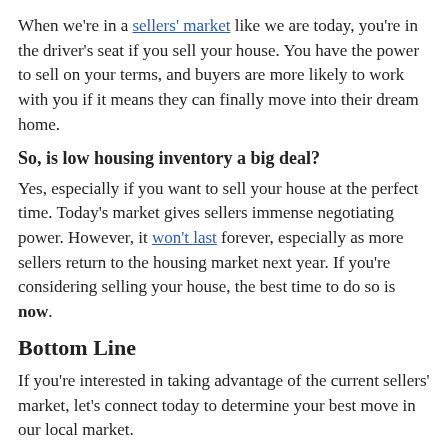When we're in a sellers' market like we are today, you're in the driver's seat if you sell your house. You have the power to sell on your terms, and buyers are more likely to work with you if it means they can finally move into their dream home.
So, is low housing inventory a big deal?
Yes, especially if you want to sell your house at the perfect time. Today's market gives sellers immense negotiating power. However, it won't last forever, especially as more sellers return to the housing market next year. If you're considering selling your house, the best time to do so is now.
Bottom Line
If you're interested in taking advantage of the current sellers' market, let's connect today to determine your best move in our local market.
By LVH|2020-10-29T03:00:49-07:00October 29th, 2020|blog|Comments Off
Share This Story, Choose Your Platform!